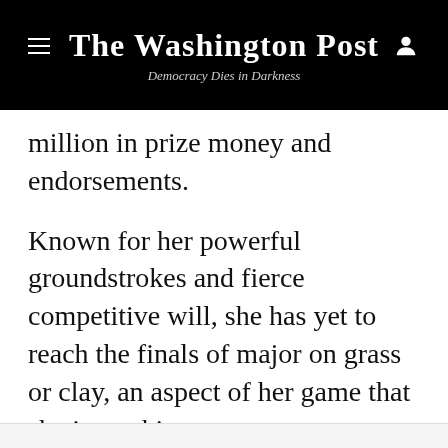The Washington Post — Democracy Dies in Darkness
million in prize money and endorsements.
Known for her powerful groundstrokes and fierce competitive will, she has yet to reach the finals of major on grass or clay, an aspect of her game that she is working on.
Story continues below advertisement
[Figure (other): Advertisement placeholder box (gray rectangle)]